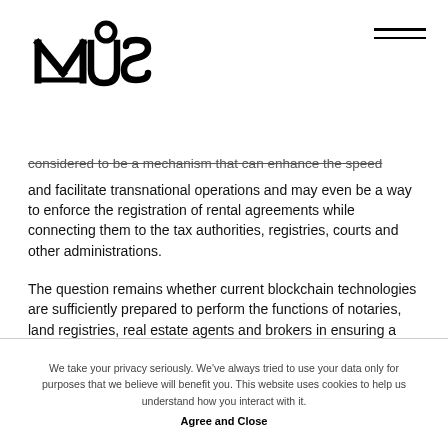[Figure (logo): MUSO logo — stylized text logo in black]
considered to be a mechanism that can enhance the speed and facilitate transnational operations and may even be a way to enforce the registration of rental agreements while connecting them to the tax authorities, registries, courts and other administrations.
The question remains whether current blockchain technologies are sufficiently prepared to perform the functions of notaries, land registries, real estate agents and brokers in ensuring a secure real estate transaction.
We believe the answer is yes.
We take your privacy seriously. We've always tried to use your data only for purposes that we believe will benefit you. This website uses cookies to help us understand how you interact with it. Agree and Close